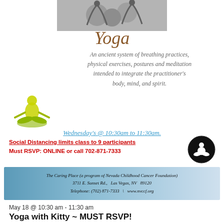[Figure (photo): Black and white photo of people doing yoga poses]
Yoga
An ancient system of breathing practices, physical exercises, postures and meditation intended to integrate the practitioner's body, mind, and spirit.
[Figure (illustration): Yellow/green yoga meditation figure sitting in lotus pose]
Wednesday's @ 10:30am to 11:30am.
Social Distancing limits class to 9 participants
Must RSVP: ONLINE or call 702-871-7333
[Figure (illustration): Black circle with white silhouette of yoga meditation figure]
The Caring Place (a program of Nevada Childhood Cancer Foundation)
3711 E. Sunset Rd., Las Vegas, NV 89120
Telephone: (702) 871-7333 \ www.nvccf.org
May 18 @ 10:30 am - 11:30 am
Yoga with Kitty ~ MUST RSVP!
The Caring Place 3711 E Sunset Rd, Las Vegas, NV
Free